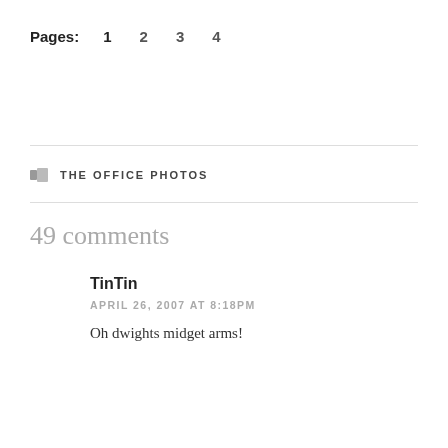Pages: 1 2 3 4
THE OFFICE PHOTOS
49 comments
TinTin
APRIL 26, 2007 AT 8:18PM
Oh dwights midget arms!